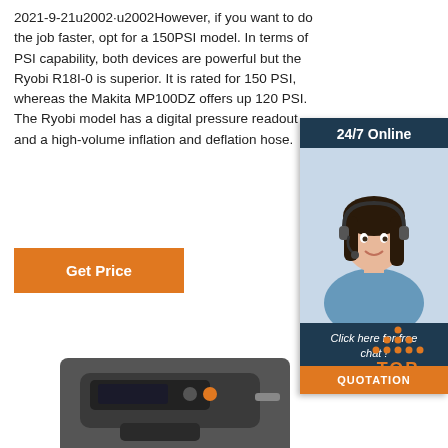2021-9-21u2002·u2002However, if you want to do the job faster, opt for a 150PSI model. In terms of PSI capability, both devices are powerful but the Ryobi R18I-0 is superior. It is rated for 150 PSI, whereas the Makita MP100DZ offers up 120 PSI. The Ryobi model has a digital pressure readout and a high-volume inflation and deflation hose.
[Figure (photo): 24/7 Online chat widget showing a woman with headset, 'Click here for free chat!' text, and a QUOTATION button.]
[Figure (illustration): Orange 'TOP' button with dot pattern above, indicating scroll-to-top functionality.]
[Figure (photo): Product image of a dark/black handheld inflation device at the bottom of the page.]